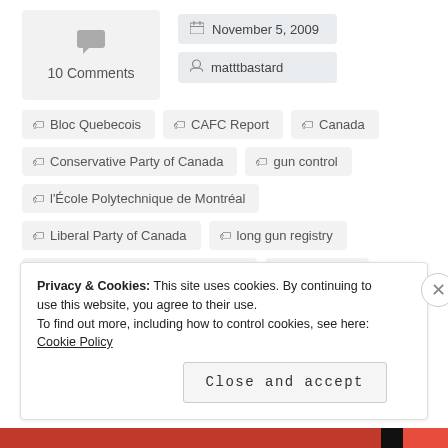10 Comments
November 5, 2009
matttbastard
Bloc Quebecois
CAFC Report
Canada
Conservative Party of Canada
gun control
l'École Polytechnique de Montréal
Liberal Party of Canada
long gun registry
New Democratic Party of Canada
Parliament
Peter Van Loan
politics
violence against women
Privacy & Cookies: This site uses cookies. By continuing to use this website, you agree to their use. To find out more, including how to control cookies, see here: Cookie Policy
Close and accept